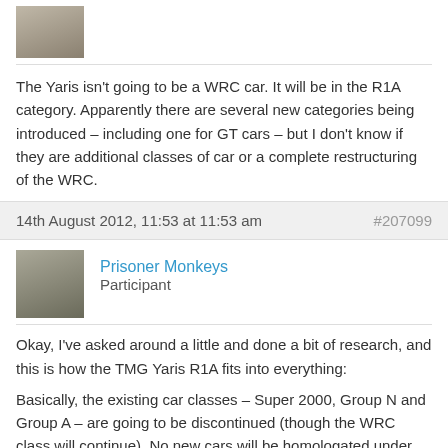[Figure (photo): Partial avatar photo of a person at top of page]
The Yaris isn't going to be a WRC car. It will be in the R1A category. Apparently there are several new categories being introduced – including one for GT cars – but I don't know if they are additional classes of car or a complete restructuring of the WRC.
14th August 2012, 11:53 at 11:53 am   #207099
[Figure (photo): Avatar photo of Prisoner Monkeys, a person wearing a hat]
Prisoner Monkeys
Participant
Okay, I've asked around a little and done a bit of research, and this is how the TMG Yaris R1A fits into everything:
Basically, the existing car classes – Super 2000, Group N and Group A – are going to be discontinued (though the WRC class will continue). No new cars will be homologated under these rules. Instead, the entire class system is going to be restructured with the new R-class cars. Every car that is homologated will be placed into one